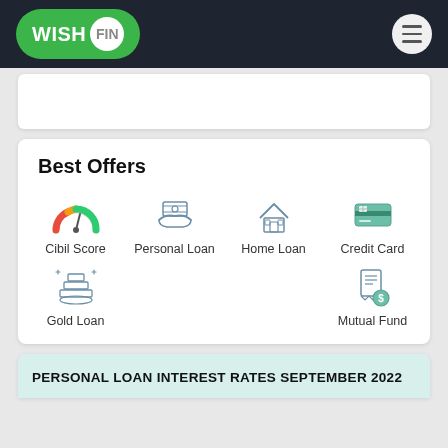WISH FIN
Best Offers
[Figure (infographic): Best Offers section with 6 icons: Cibil Score (gauge meter), Personal Loan (hand with money), Home Loan (house), Credit Card (card), Gold Loan (gold bars), Mutual Fund (receipt with dollar sign)]
PERSONAL LOAN INTEREST RATES SEPTEMBER 2022